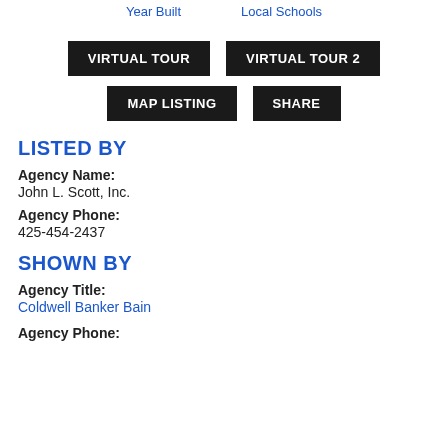Year Built    Local Schools
VIRTUAL TOUR | VIRTUAL TOUR 2 | MAP LISTING | SHARE
LISTED BY
Agency Name:
John L. Scott, Inc.
Agency Phone:
425-454-2437
SHOWN BY
Agency Title:
Coldwell Banker Bain
Agency Phone: